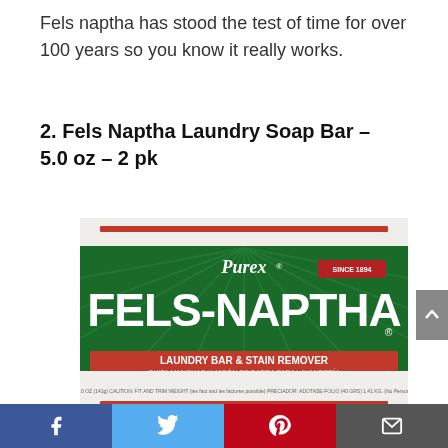Fels naptha has stood the test of time for over 100 years so you know it really works.
2. Fels Naptha Laundry Soap Bar – 5.0 oz – 2 pk
[Figure (photo): Fels-Naptha Laundry Bar & Stain Remover soap bar product packaging by Purex, green and white box]
[Figure (photo): Second Fels-Naptha Laundry Bar product packaging, partially visible at bottom]
Facebook | Twitter | Pinterest | Email share bar